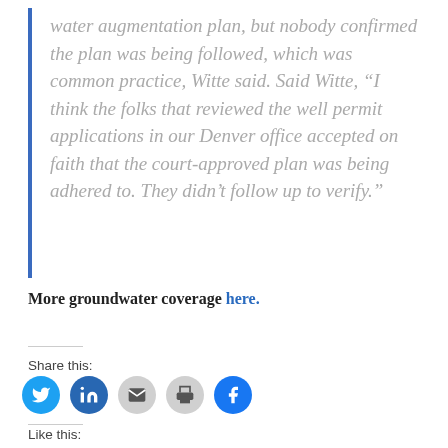water augmentation plan, but nobody confirmed the plan was being followed, which was common practice, Witte said. Said Witte, “I think the folks that reviewed the well permit applications in our Denver office accepted on faith that the court-approved plan was being adhered to. They didn’t follow up to verify.”
More groundwater coverage here.
Share this:
[Figure (infographic): Five social share icon circles: Twitter (blue), LinkedIn (blue), Email (gray), Print (gray), Facebook (blue)]
Like this: